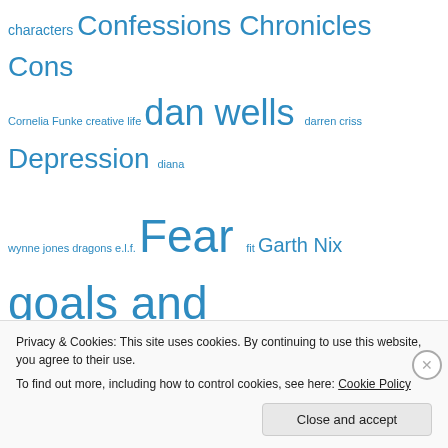[Figure (other): Tag cloud with words of varying sizes in blue: characters, Confessions, Chronicles, Cons, Cornelia Funke, creative life, dan wells, darren criss, Depression, diana wynne jones, dragons, e.l.f., Fear, fit, Garth Nix, goals and resolutions, Great, Garden, Saturation, guest blog, happy, Harry, howard tayler, inspiration, Jennifer A Nielsen, knitting, language, Let It Go Link, LTUE, mary robinette kowal, Movies, NaNoWriMo, Neil Gaiman, not dead yet, onion banana juice, pearls, picture, pictures, plotting tool, podcast, professionalism]
Privacy & Cookies: This site uses cookies. By continuing to use this website, you agree to their use.
To find out more, including how to control cookies, see here: Cookie Policy
Close and accept